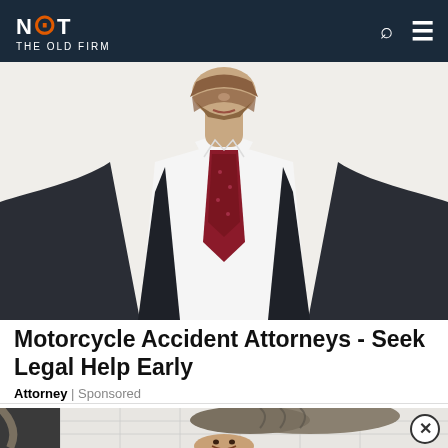NOT THE OLD FIRM
[Figure (photo): Man in dark suit with red tie, white shirt, bearded, photo cut off at chin — lawyer stock photo on white background]
Motorcycle Accident Attorneys - Seek Legal Help Early
Attorney | Sponsored
[Figure (photo): Gray cat on bathroom sink surface, man smiling below, white subway tile background, mirror visible]